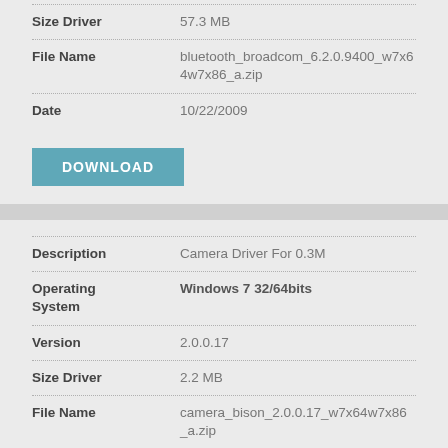| Field | Value |
| --- | --- |
| Size Driver | 57.3 MB |
| File Name | bluetooth_broadcom_6.2.0.9400_w7x64w7x86_a.zip |
| Date | 10/22/2009 |
DOWNLOAD
| Field | Value |
| --- | --- |
| Description | Camera Driver For 0.3M |
| Operating System | Windows 7 32/64bits |
| Version | 2.0.0.17 |
| Size Driver | 2.2 MB |
| File Name | camera_bison_2.0.0.17_w7x64w7x86_a.zip |
| Date | 10/26/2009 |
DOWNLOAD